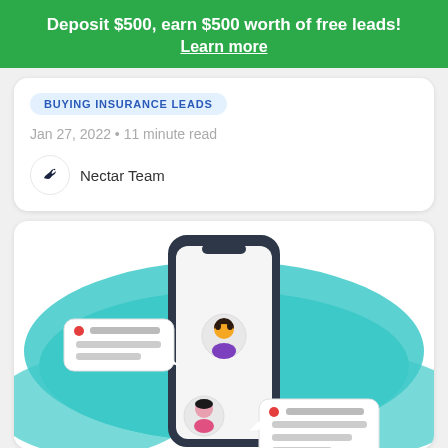Deposit $500, earn $500 worth of free leads! Learn more
BUYING INSURANCE LEADS
Jan 27, 2022 • 11 minute read
Nectar Team
[Figure (illustration): Illustration of a smartphone with messaging/chat interface showing two user avatars and speech bubbles with notification dots, set against a teal/mint colored background shape]